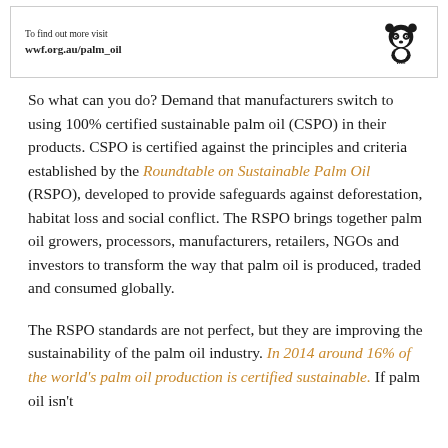To find out more visit wwf.org.au/palm_oil
So what can you do? Demand that manufacturers switch to using 100% certified sustainable palm oil (CSPO) in their products. CSPO is certified against the principles and criteria established by the Roundtable on Sustainable Palm Oil (RSPO), developed to provide safeguards against deforestation, habitat loss and social conflict. The RSPO brings together palm oil growers, processors, manufacturers, retailers, NGOs and investors to transform the way that palm oil is produced, traded and consumed globally.
The RSPO standards are not perfect, but they are improving the sustainability of the palm oil industry. In 2014 around 16% of the world's palm oil production is certified sustainable. If palm oil isn't